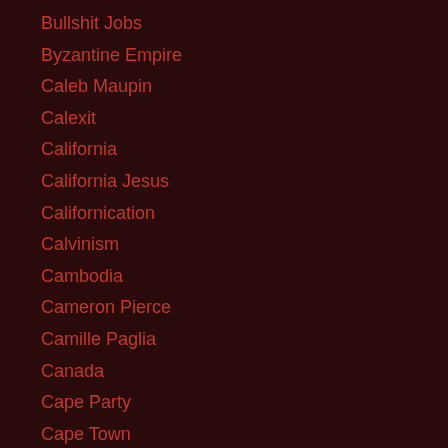Bullshit Jobs
Byzantine Empire
Caleb Maupin
Calexit
California
California Jesus
Californication
Calvinism
Cambodia
Cameron Pierce
Camille Paglia
Canada
Cape Party
Cape Town
capitalism